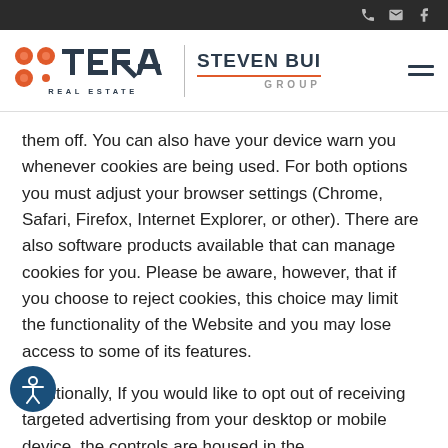TERA Real Estate | Steven Bui Group
them off. You can also have your device warn you whenever cookies are being used. For both options you must adjust your browser settings (Chrome, Safari, Firefox, Internet Explorer, or other). There are also software products available that can manage cookies for you. Please be aware, however, that if you choose to reject cookies, this choice may limit the functionality of the Website and you may lose access to some of its features.
Additionally, If you would like to opt out of receiving targeted advertising from your desktop or mobile device, the controls are housed in the